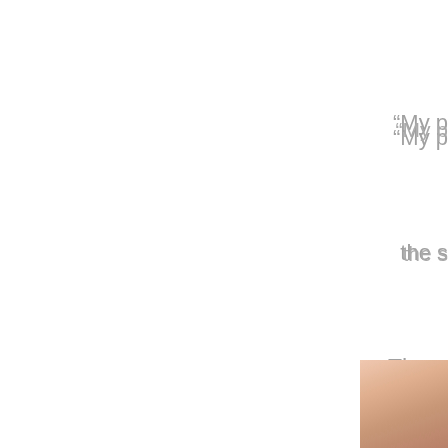“My p…
the s…
Throu…
and…
like t…
[Figure (photo): A partial photo of a person, visible in the bottom-right corner of the page, showing warm skin tones.]